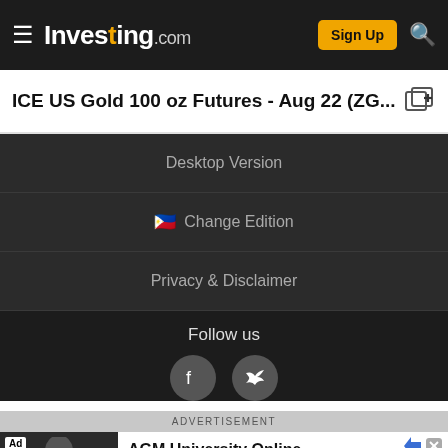Investing.com — Sign Up
ICE US Gold 100 oz Futures - Aug 22 (ZG...
Desktop Version
🇵🇭 Change Edition
Privacy & Disclaimer
Follow us
ADVERTISEMENT
[Figure (screenshot): Advertisement for AGM University Online showing a woman with glasses and the tagline 'Opta por una educación a distancia de EXCELENCIA'. Bottom bar shows red background with Elévate logo.]
AGM University Online
AGM University Online
Más información